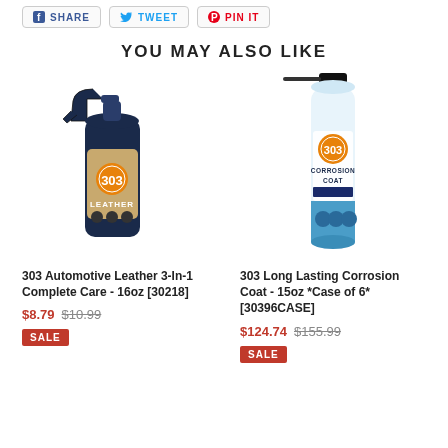SHARE | TWEET | PIN IT
YOU MAY ALSO LIKE
[Figure (photo): 303 Automotive Leather 3-In-1 Complete Care spray bottle with navy blue trigger sprayer and gold label]
303 Automotive Leather 3-In-1 Complete Care - 16oz [30218]
$8.79  $10.99  SALE
[Figure (photo): 303 Long Lasting Corrosion Coat 15oz aerosol can with black cap and blue/white label]
303 Long Lasting Corrosion Coat - 15oz *Case of 6* [30396CASE]
$124.74  $155.99  SALE